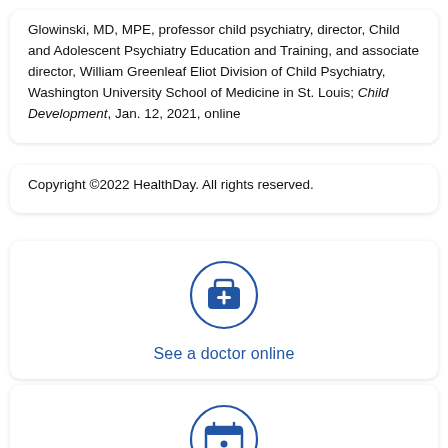Glowinski, MD, MPE, professor child psychiatry, director, Child and Adolescent Psychiatry Education and Training, and associate director, William Greenleaf Eliot Division of Child Psychiatry, Washington University School of Medicine in St. Louis; Child Development, Jan. 12, 2021, online
Copyright ©2022 HealthDay. All rights reserved.
[Figure (illustration): Blue circle outline icon containing a medical bag with a plus sign, representing 'See a doctor online']
See a doctor online
[Figure (illustration): Blue circle outline icon containing a calendar with a dot/marker, representing 'Register for an event']
Register for an event